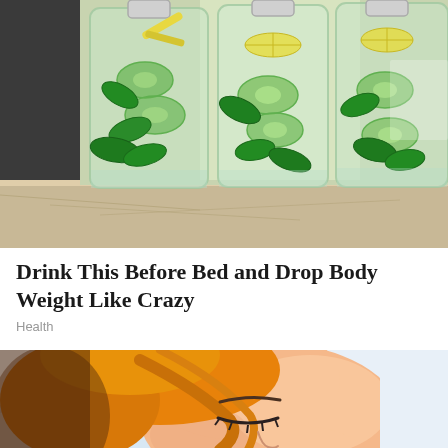[Figure (photo): Three glass bottles filled with infused water containing cucumber slices, mint leaves, and lemon/ginger pieces, sitting on a kitchen counter with a stainless steel refrigerator in the background.]
Drink This Before Bed and Drop Body Weight Like Crazy
Health
[Figure (illustration): Comic/cartoon style illustration of a woman with blonde hair sleeping, eyes closed, resting her head on a pillow. Shown from the shoulders up, with a peach/skin-tone face and orange hair highlights.]